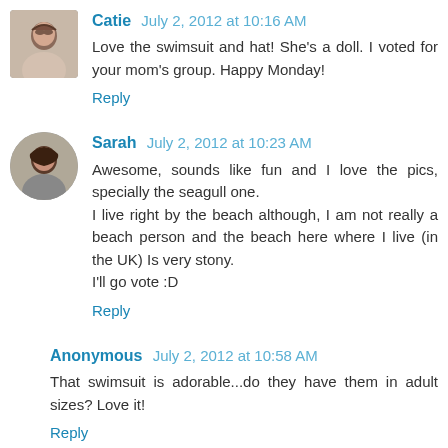[Figure (photo): Avatar photo of Catie, a woman with dark hair]
Catie  July 2, 2012 at 10:16 AM
Love the swimsuit and hat! She's a doll. I voted for your mom's group. Happy Monday!
Reply
[Figure (photo): Avatar photo of Sarah, a woman with dark hair]
Sarah  July 2, 2012 at 10:23 AM
Awesome, sounds like fun and I love the pics, specially the seagull one.
I live right by the beach although, I am not really a beach person and the beach here where I live (in the UK) Is very stony.
I'll go vote :D
Reply
Anonymous  July 2, 2012 at 10:58 AM
That swimsuit is adorable...do they have them in adult sizes? Love it!
Reply